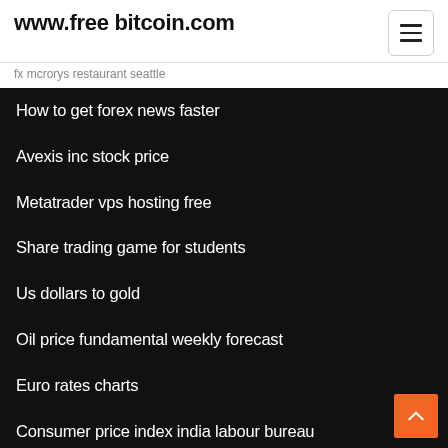www.free bitcoin.com
fx mcrorys restaurant seattle
How to get forex news faster
Avexis inc stock price
Metatrader vps hosting free
Share trading game for students
Us dollars to gold
Oil price fundamental weekly forecast
Euro rates charts
Consumer price index india labour bureau
Intel stock price in 1998
Best global trading platform